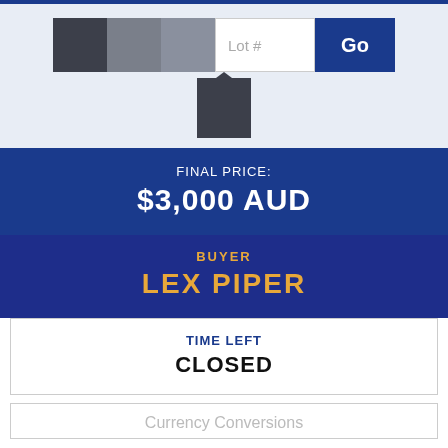[Figure (screenshot): Navigation bar with color swatches, a Lot # input field, and a Go button]
FINAL PRICE:
$3,000 AUD
BUYER
LEX PIPER
TIME LEFT
CLOSED
Currency Conversions